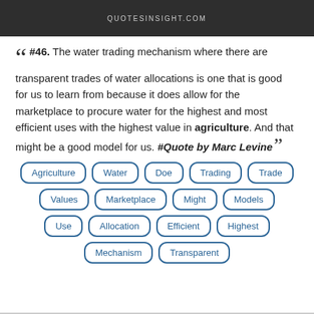QUOTESINSIGHT.COM
“ #46. The water trading mechanism where there are transparent trades of water allocations is one that is good for us to learn from because it does allow for the marketplace to procure water for the highest and most efficient uses with the highest value in agriculture. And that might be a good model for us. #Quote by Marc Levine ”
Agriculture
Water
Doe
Trading
Trade
Values
Marketplace
Might
Models
Use
Allocation
Efficient
Highest
Mechanism
Transparent